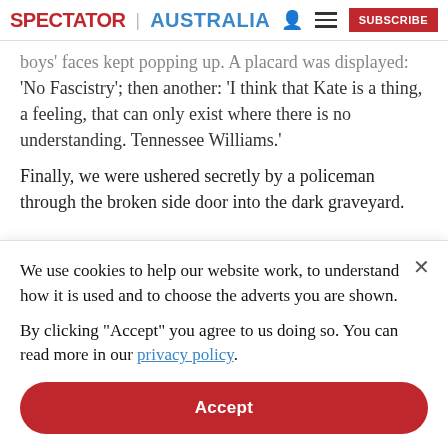SPECTATOR | AUSTRALIA
boys' faces kept popping up. A placard was displayed: 'No Fascistry'; then another: 'I think that Kate is a thing, a feeling, that can only exist where there is no understanding. Tennessee Williams.'
Finally, we were ushered secretly by a policeman through the broken side door into the dark graveyard.
We use cookies to help our website work, to understand how it is used and to choose the adverts you are shown.
By clicking "Accept" you agree to us doing so. You can read more in our privacy policy.